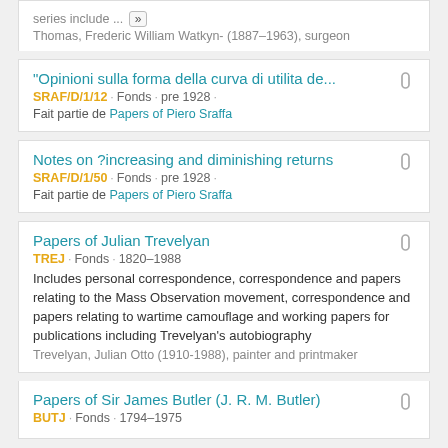series include ... » Thomas, Frederic William Watkyn- (1887–1963), surgeon
"Opinioni sulla forma della curva di utilita de..." SRAF/D/1/12 · Fonds · pre 1928 · Fait partie de Papers of Piero Sraffa
Notes on ?increasing and diminishing returns SRAF/D/1/50 · Fonds · pre 1928 · Fait partie de Papers of Piero Sraffa
Papers of Julian Trevelyan TREJ · Fonds · 1820–1988 Includes personal correspondence, correspondence and papers relating to the Mass Observation movement, correspondence and papers relating to wartime camouflage and working papers for publications including Trevelyan's autobiography Trevelyan, Julian Otto (1910-1988), painter and printmaker
Papers of Sir James Butler (J. R. M. Butler) BUTJ · Fonds · 1794–1975